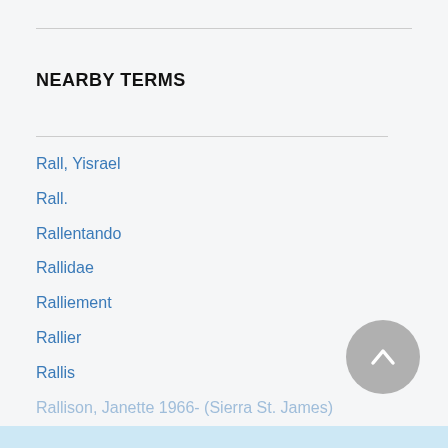NEARBY TERMS
Rall, Yisrael
Rall.
Rallentando
Rallidae
Ralliement
Rallier
Rallis
Rallison, Janette 1966- (Sierra St. James)